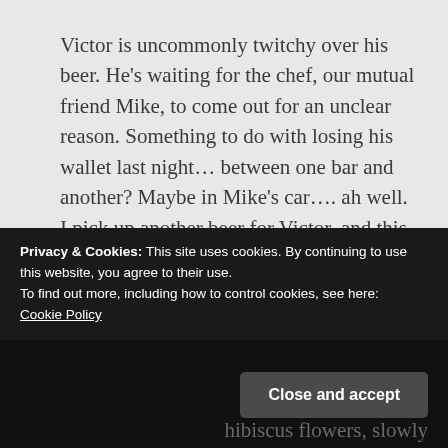Victor is uncommonly twitchy over his beer. He's waiting for the chef, our mutual friend Mike, to come out for an unclear reason. Something to do with losing his wallet last night… between one bar and another? Maybe in Mike's car…. ah well. I pick up another beer for Victor, and this time a gin and tonic for me. They do a really good gin and tonic here.
[Figure (photo): Dark bar interior photo showing lights in the background]
For real, that's how it's written in the menu
Privacy & Cookies: This site uses cookies. By continuing to use this website, you agree to their use.
To find out more, including how to control cookies, see here: Cookie Policy
Close and accept
hibiscus flowers, slowly